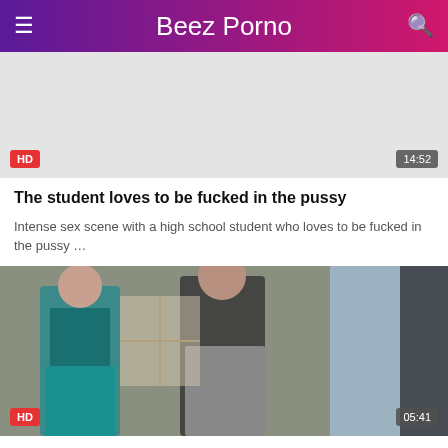Beez Porno
[Figure (photo): Video thumbnail placeholder with HD badge and 14:52 duration]
The student loves to be fucked in the pussy
Intense sex scene with a high school student who loves to be fucked in the pussy …
[Figure (photo): Video thumbnail showing three women in a room, HD badge and 05:41 duration]